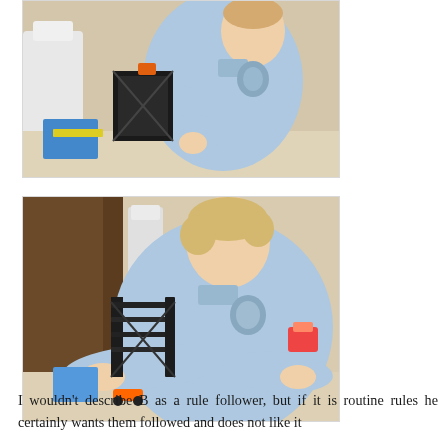[Figure (photo): Young boy wearing a light blue polo shirt with a school logo, sitting at a table and holding a black LEGO/toy crane construction set, looking down at it. Background shows white chairs and a home interior.]
[Figure (photo): Same young boy in a light blue polo shirt with school logo, leaning over a table and looking down at a black toy crane construction set placed on the table surface. A colorful toy is visible in the background.]
I wouldn't describe B as a rule follower, but if it is routine rules he certainly wants them followed and does not like it